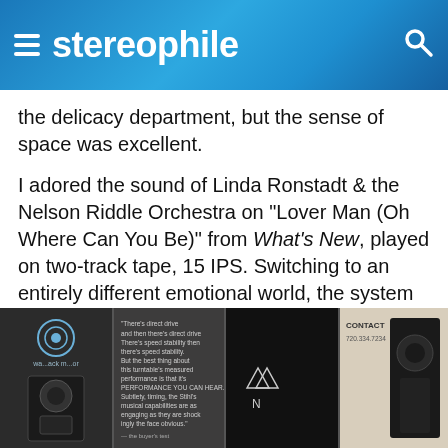stereophile
the delicacy department, but the sense of space was excellent.
I adored the sound of Linda Ronstadt & the Nelson Riddle Orchestra on "Lover Man (Oh Where Can You Be)" from What's New, played on two-track tape, 15 IPS. Switching to an entirely different emotional world, the system nailed the nastiness on Tom Jones & Jeff Beck's "Goin' Down Slow" from the CD Red, White & Blues. Really, really fine.
[Figure (photo): Photo strip showing audio equipment including speakers and Rowland audio gear branding]